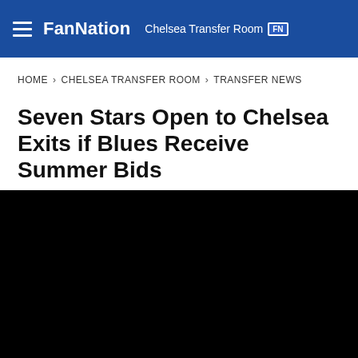FanNation · Chelsea Transfer Room
HOME > CHELSEA TRANSFER ROOM > TRANSFER NEWS
Seven Stars Open to Chelsea Exits if Blues Receive Summer Bids
NICK EMMS • MAY 25, 2022 2:00 PM EDT
[Figure (photo): Black image placeholder / article hero image]